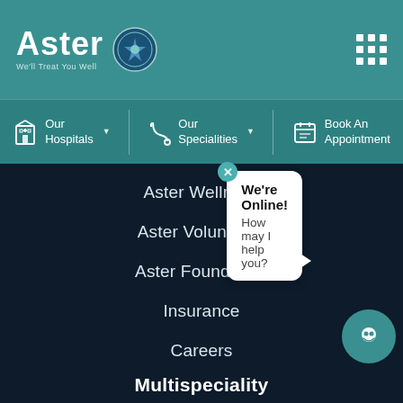[Figure (logo): Aster DM Healthcare logo with tagline 'We'll Treat You Well' and accreditation badge]
Our Hospitals | Our Specialities | Book An Appointment
Aster Wellness
Aster Volunteers
Aster Foundation
Insurance
Careers
Admission & Discharge
Guidelines for Patient & Attendants
Patient Rights and Responsibilities
We're Online! How may I help you?
Multispeciality